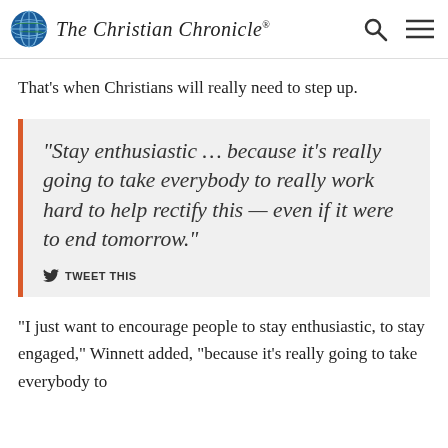The Christian Chronicle
That’s when Christians will really need to step up.
“Stay enthusiastic … because it’s really going to take everybody to really work hard to help rectify this – even if it were to end tomorrow.” TWEET THIS
“I just want to encourage people to stay enthusiastic, to stay engaged,” Winnett added, “because it’s really going to take everybody to